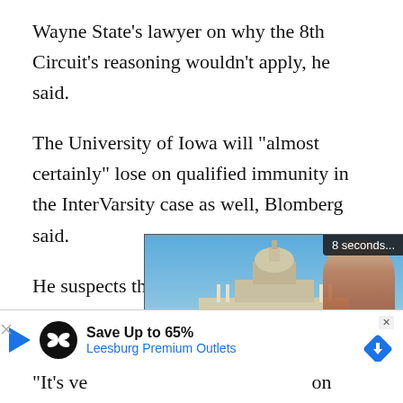Wayne State's lawyer on why the 8th Circuit's reasoning wouldn't apply, he said.
The University of Iowa will "almost certainly" lose on qualified immunity in the InterVarsity case as well, Blomberg said.
He suspects that courts are increasingly skeptical that university officials have the same need for qualified immunity as police, who can't consult with lawyers before making split-second decisions. He noted that the 8th Circuit specifically distinguished between law enforcement and university officials.
[Figure (screenshot): Video player overlay showing a news anchor in front of the US Capitol building, with a countdown of '8 seconds...' and playback controls including pause, back, settings, and fullscreen buttons. Just the News logo visible.]
[Figure (screenshot): Advertisement banner: blue play triangle icon, circular black logo with infinity symbol, text 'Save Up to 65%' and 'Leesburg Premium Outlets', X close icons, blue diamond arrow icon.]
"It's very much on